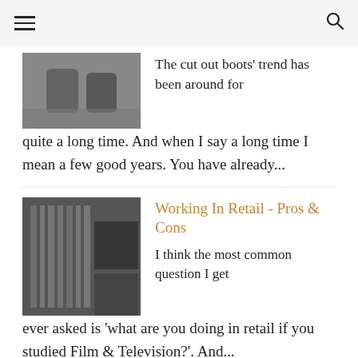≡   🔍
[Figure (photo): Thumbnail photo of cut out boots on a stone surface]
The cut out boots' trend has been around for quite a long time. And when I say a long time I mean a few good years. You have already...
[Figure (photo): Thumbnail photo of retail store clothing rack with garments]
Working In Retail - Pros & Cons
I think the most common question I get ever asked is 'what are you doing in retail if you studied Film & Television?'. And...
[Figure (photo): Thumbnail photo of a woman in black outfit outdoors]
Black Is Never Out Of Style
One of my favorite